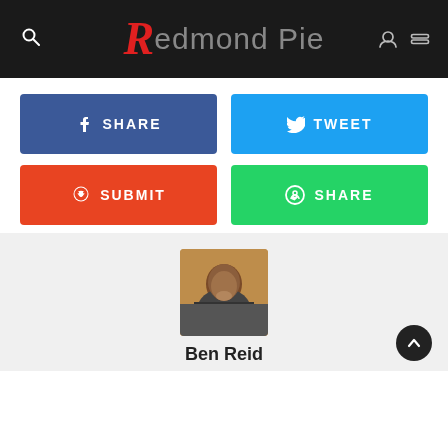Redmond Pie
[Figure (screenshot): Social share buttons: Facebook SHARE (blue), Twitter TWEET (light blue), Reddit SUBMIT (orange), WhatsApp SHARE (green)]
[Figure (photo): Author profile photo of Ben Reid]
Ben Reid